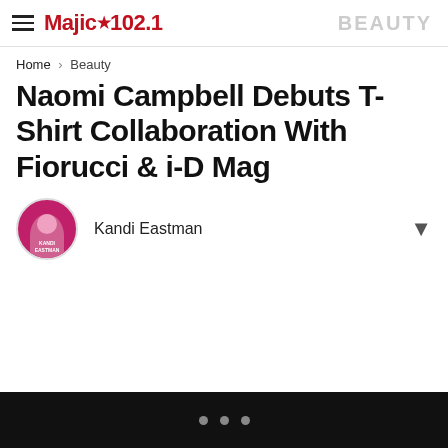Majic ☆ 102.1 | BEAUTY
Home › Beauty
Naomi Campbell Debuts T-Shirt Collaboration With Fiorucci & i-D Mag
Kandi Eastman
[Figure (other): KMJQ Featured Video player box]
[Figure (other): Bottom navigation bar with three circular dot indicators on black background]